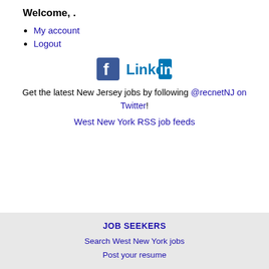Welcome, .
My account
Logout
[Figure (logo): Facebook logo icon and LinkedIn logo side by side]
Get the latest New Jersey jobs by following @recnetNJ on Twitter!
West New York RSS job feeds
JOB SEEKERS
Search West New York jobs
Post your resume